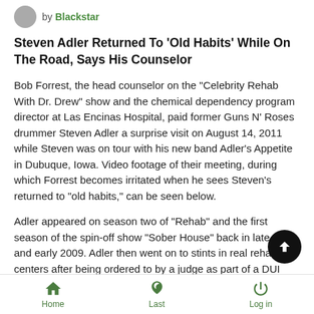by Blackstar
Steven Adler Returned To 'Old Habits' While On The Road, Says His Counselor
Bob Forrest, the head counselor on the "Celebrity Rehab With Dr. Drew" show and the chemical dependency program director at Las Encinas Hospital, paid former Guns N' Roses drummer Steven Adler a surprise visit on August 14, 2011 while Steven was on tour with his new band Adler's Appetite in Dubuque, Iowa. Video footage of their meeting, during which Forrest becomes irritated when he sees Steven's returned to "old habits," can be seen below.
Adler appeared on season two of "Rehab" and the first season of the spin-off show "Sober House" back in late 2008 and early 2009. Adler then went on to stints in real rehab centers after being ordered to by a judge as part of a DUI bust. He subsequently returned for Season 5 of "Celebrity Rehab With Dr.
Home  Last  Log in